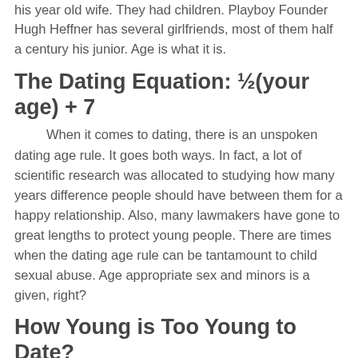his year old wife. They had children. Playboy Founder Hugh Heffner has several girlfriends, most of them half a century his junior. Age is what it is.
The Dating Equation: ½(your age) + 7
When it comes to dating, there is an unspoken dating age rule. It goes both ways. In fact, a lot of scientific research was allocated to studying how many years difference people should have between them for a happy relationship. Also, many lawmakers have gone to great lengths to protect young people. There are times when the dating age rule can be tantamount to child sexual abuse. Age appropriate sex and minors is a given, right?
How Young is Too Young to Date?
Subscribe To Our Newsletter! According to this rule, he could date a woman from 31 years old to date a 22-